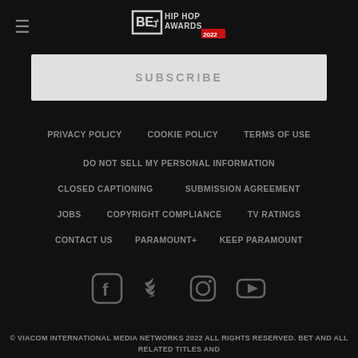BET HIP HOP AWARDS 2022
SUBSCRIBE
PRIVACY POLICY
COOKIE POLICY
TERMS OF USE
DO NOT SELL MY PERSONAL INFORMATION
CLOSED CAPTIONING
SUBMISSION AGREEMENT
JOBS
COPYRIGHT COMPLIANCE
TV RATINGS
CONTACT US
PARAMOUNT+
KEEP PARAMOUNT
[Figure (infographic): Social media icons: Facebook, Twitter, Instagram, YouTube]
© VIACOM INTERNATIONAL MEDIA NETWORKS 2022 ALL RIGHTS RESERVED. BET AND ALL RELATED TITLES AND